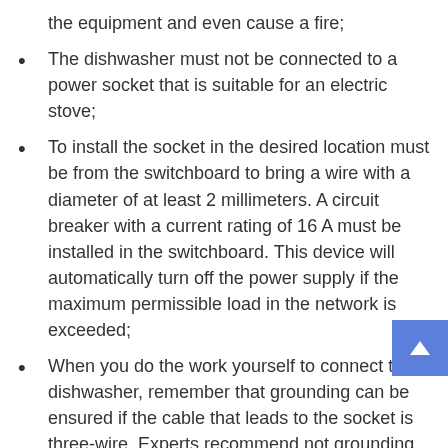the equipment and even cause a fire;
The dishwasher must not be connected to a power socket that is suitable for an electric stove;
To install the socket in the desired location must be from the switchboard to bring a wire with a diameter of at least 2 millimeters. A circuit breaker with a current rating of 16 A must be installed in the switchboard. This device will automatically turn off the power supply if the maximum permissible load in the network is exceeded;
When you do the work yourself to connect the dishwasher, remember that grounding can be ensured if the cable that leads to the socket is three-wire. Experts recommend not grounding electrical appliances to gas, water or heating pipes, as this is extremely dangerous.
Step two. water supply. The water supply for the dishwasher must take place through the outlet provided